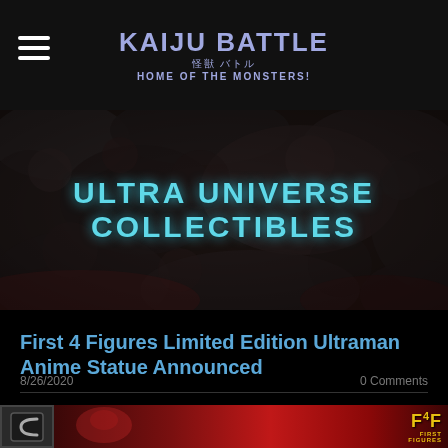Kaiju Battle 怪獣 バトル HOME OF THE MONSTERS!
[Figure (illustration): Dark textured rocky/scaly background banner with teal glowing text reading ULTRA UNIVERSE COLLECTIBLES]
First 4 Figures Limited Edition Ultraman Anime Statue Announced
8/26/2020
0 Comments
[Figure (photo): Bottom image strip showing a dark red/crimson background with an Ultraman figure and First 4 Figures logo on the right]